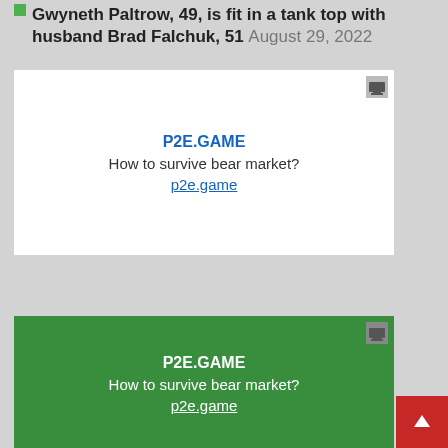Gwyneth Paltrow, 49, is fit in a tank top with husband Brad Falchuk, 51 August 29, 2022
[Figure (infographic): White advertisement box for P2E.GAME with text 'How to survive bear market?' and link p2e.game]
[Figure (infographic): Green advertisement box for P2E.GAME with text 'How to survive bear market?' and link p2e.game]